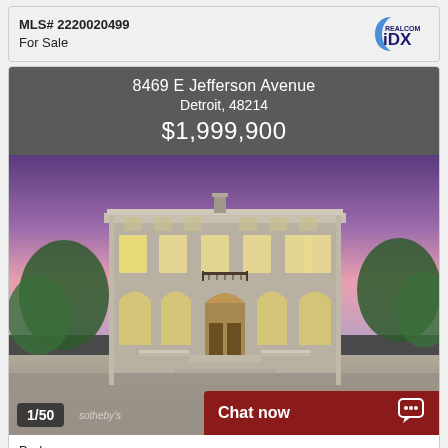MLS# 2220020499
For Sale
8469 E Jefferson Avenue
Detroit, 48214
$1,999,900
[Figure (photo): Exterior photo of a large classical/neoclassical mansion at dusk with purple sky, illuminated windows, arched entry, and trees on both sides. Photo counter shows 1/50. Watermark reads sothebys.]
Chat now
Bedrooms